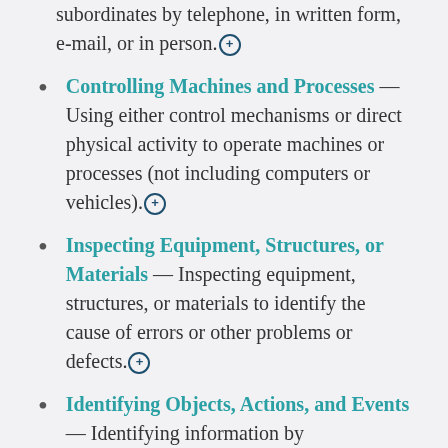subordinates by telephone, in written form, e-mail, or in person.
Controlling Machines and Processes — Using either control mechanisms or direct physical activity to operate machines or processes (not including computers or vehicles).
Inspecting Equipment, Structures, or Materials — Inspecting equipment, structures, or materials to identify the cause of errors or other problems or defects.
Identifying Objects, Actions, and Events — Identifying information by